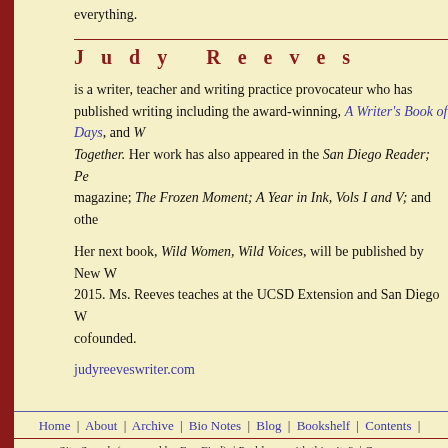everything.
Judy Reeves
is a writer, teacher and writing practice provocateur who has published writing including the award-winning, A Writer's Book of Days, and Writing Alone Together. Her work has also appeared in the San Diego Reader; Per magazine; The Frozen Moment; A Year in Ink, Vols I and V; and other publications.
Her next book, Wild Women, Wild Voices, will be published by New World Library in 2015. Ms. Reeves teaches at the UCSD Extension and San Diego Writers, Ink, which she cofounded.
judyreeveswriter.com
Home | About | Archive | Bio Notes | Blog | Bookshelf | Contents |
Site Search (powered by FreeFind) | Problems with this site? | Comments